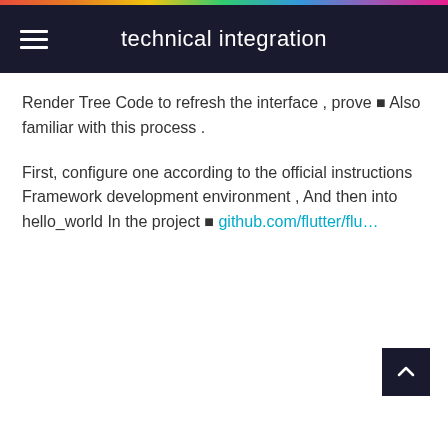technical integration
Render Tree Code to refresh the interface , prove ■ Also familiar with this process .
First, configure one according to the official instructions Framework development environment , And then into hello_world In the project ■ github.com/flutter/flu…